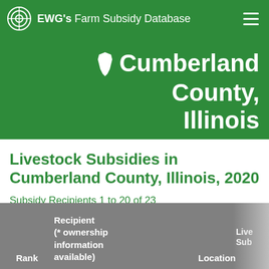EWG's Farm Subsidy Database
Cumberland County, Illinois
Livestock Subsidies in Cumberland County, Illinois, 2020
Subsidy Recipients 1 to 20 of 23
Recipients of Livestock Subsidies from farms in Cumberland County, Illinois totaled $207,000 in in 2020.
| Rank | Recipient (* ownership information available) | Location | Livestock Subsidies |
| --- | --- | --- | --- |